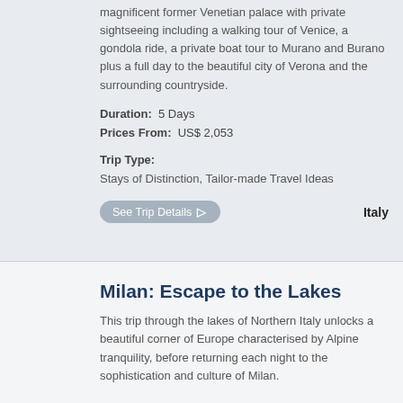magnificent former Venetian palace with private sightseeing including a walking tour of Venice, a gondola ride, a private boat tour to Murano and Burano plus a full day to the beautiful city of Verona and the surrounding countryside.
Duration: 5 Days
Prices From: US$ 2,053
Trip Type:
Stays of Distinction, Tailor-made Travel Ideas
See Trip Details
Italy
Milan: Escape to the Lakes
This trip through the lakes of Northern Italy unlocks a beautiful corner of Europe characterised by Alpine tranquility, before returning each night to the sophistication and culture of Milan.